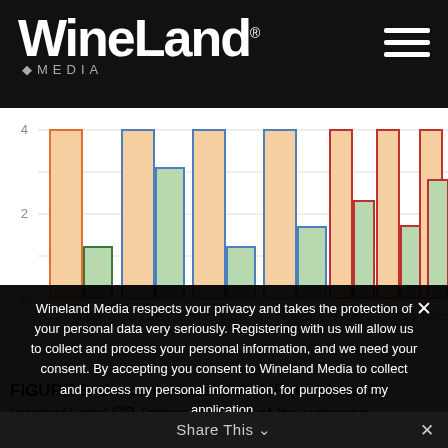WineLand MEDIA
[Figure (grouped-bar-chart): Concentrations of 4MMP (ng/L) for SB (orange) and CB (green)]
FIGURE 3. Concentrations of 4MMP (ng/L) for SB (orange) and CB (green) for one of the wineries participating in the study. Storage
Wineland Media respects your privacy and takes the protection of your personal data very seriously. Registering with us will allow us to collect and process your personal information, and we need your consent. By accepting you consent to Wineland Media to collect and process my personal information, for purposes of my application.
View Privacy Policy
Share This ∨